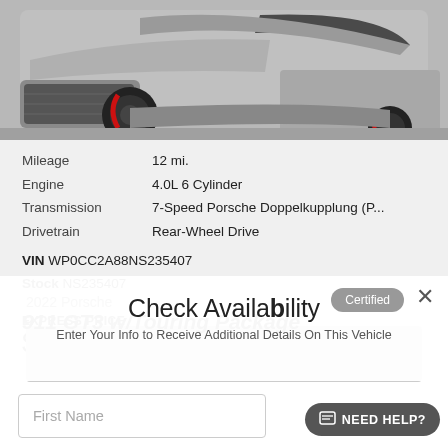[Figure (photo): Partial view of a gray Porsche 911 GT3 sports car front/side, showing black wheels with red brake calipers and front bumper, on a gray surface]
Mileage   12 mi.
Engine   4.0L 6 Cylinder
Transmission   7-Speed Porsche Doppelkupplung (P...
Drivetrain   Rear-Wheel Drive
VIN WP0CC2A88NS235407
Stock NS235407
EXPRESS PRICE
$148,210*
2022 Porsche
911 GT3 w/Touring Package
Check Availability
Enter Your Info to Receive Additional Details On This Vehicle
First Name
NEED HELP?